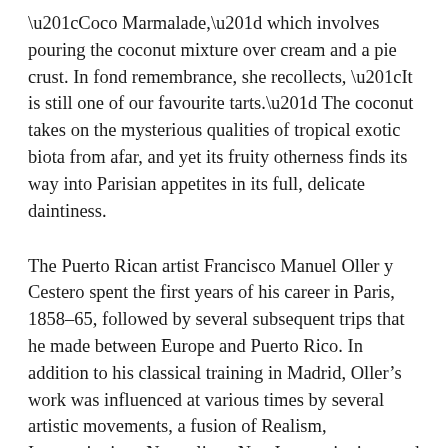“Coco Marmalade,” which involves pouring the coconut mixture over cream and a pie crust. In fond remembrance, she recollects, “It is still one of our favourite tarts.” The coconut takes on the mysterious qualities of tropical exotic biota from afar, and yet its fruity otherness finds its way into Parisian appetites in its full, delicate daintiness.
The Puerto Rican artist Francisco Manuel Oller y Cestero spent the first years of his career in Paris, 1858–65, followed by several subsequent trips that he made between Europe and Puerto Rico. In addition to his classical training in Madrid, Oller’s work was influenced at various times by several artistic movements, a fusion of Realism, Impressionism, Naturalism, Neo-Impressionism, and Symbolism. He developed a life-long friendship with Paul Cézanne and fellow Caribbean Impressionist artist, Camille Pissarro, his closest friend in Paris, who was from the island of